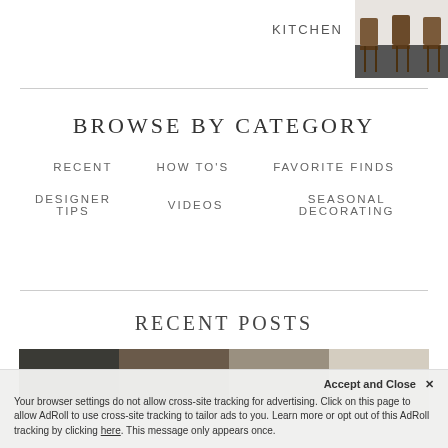KITCHEN
[Figure (photo): Photo of brown bar stools in a kitchen with white countertops]
BROWSE BY CATEGORY
RECENT
HOW TO'S
FAVORITE FINDS
DESIGNER TIPS
VIDEOS
SEASONAL DECORATING
RECENT POSTS
[Figure (photo): Recent posts preview image showing a person and interior scenes]
Accept and Close ✕
Your browser settings do not allow cross-site tracking for advertising. Click on this page to allow AdRoll to use cross-site tracking to tailor ads to you. Learn more or opt out of this AdRoll tracking by clicking here. This message only appears once.